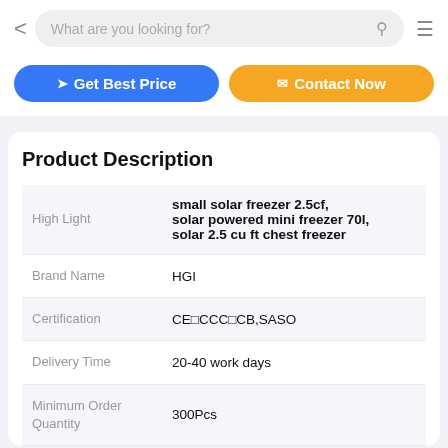What are you looking for?
[Figure (screenshot): Two CTA buttons: 'Get Best Price' (blue) and 'Contact Now' (orange)]
Product Description
|  |  |
| --- | --- |
| High Light | small solar freezer 2.5cf, solar powered mini freezer 70l, solar 2.5 cu ft chest freezer |
| Brand Name | HGI |
| Certification | CE□CCC□CB,SASO |
| Delivery Time | 20-40 work days |
| Minimum Order Quantity | 300Pcs |